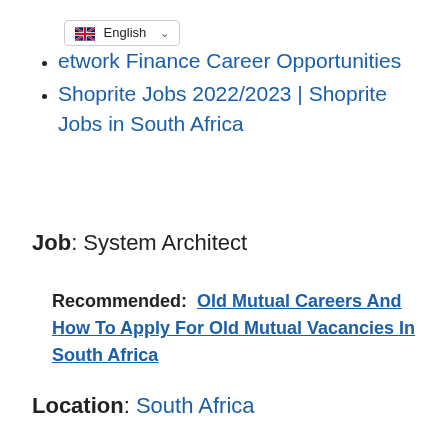[Figure (other): English language selector dropdown with UK flag]
…etwork Finance Career Opportunities
Shoprite Jobs 2022/2023 | Shoprite Jobs in South Africa
Job: System Architect
Recommended:  Old Mutual Careers And How To Apply For Old Mutual Vacancies In South Africa
Location: South Africa